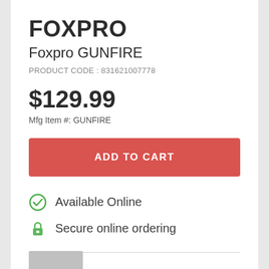FOXPRO
Foxpro GUNFIRE
PRODUCT CODE : 831621007778
$129.99
Mfg Item #: GUNFIRE
ADD TO CART
Available Online
Secure online ordering